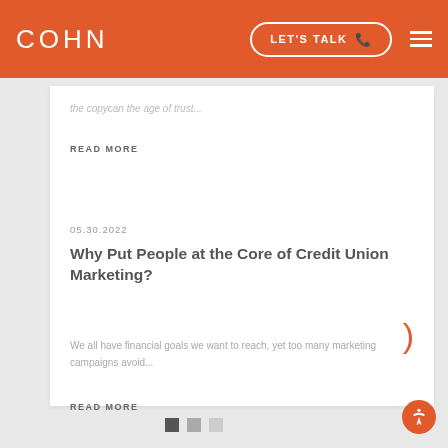COHN | LET'S TALK
the copycan the age of trust...
READ MORE
05.30.2022
Why Put People at the Core of Credit Union Marketing?
We all have financial goals we want to reach, yet too many marketing campaigns avoid...
READ MORE